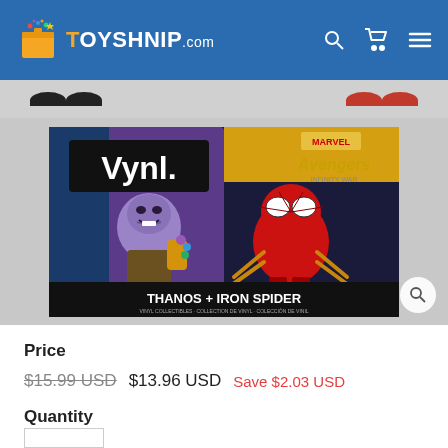TOYSHNIP.com
[Figure (photo): Funko Vynl. Avengers Infinity War Thanos + Iron Spider vinyl collectible two-pack in box]
Price
$15.99 USD  $13.96 USD  Save $2.03 USD
Quantity